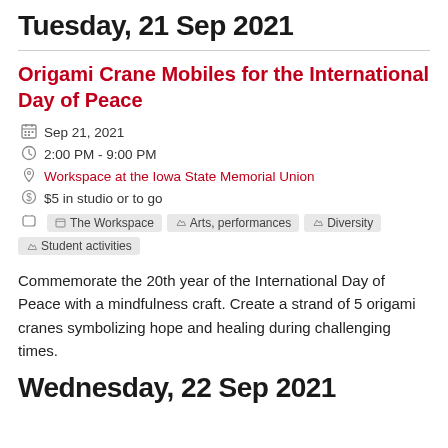Tuesday, 21 Sep 2021
Origami Crane Mobiles for the International Day of Peace
Sep 21, 2021
2:00 PM - 9:00 PM
Workspace at the Iowa State Memorial Union
$5 in studio or to go
The Workspace  Arts, performances  Diversity  Student activities
Commemorate the 20th year of the International Day of Peace with a mindfulness craft. Create a strand of 5 origami cranes symbolizing hope and healing during challenging times.
Wednesday, 22 Sep 2021